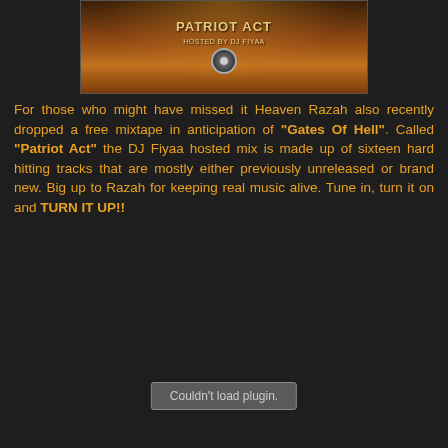[Figure (photo): Album cover art for 'Patriot Act' mixtape hosted by DJ Fiyaa, showing stylized urban/city imagery with orange and brown tones]
For those who might have missed it Heaven Razah also recently dropped a free mixtape in anticipation of "Gates Of Hell". Called "Patriot Act" the DJ Fiyaa hosted mix is made up of sixteen hard hitting tracks that are mostly either previously unreleased or brand new. Big up to Razah for keeping real music alive. Tune in, turn it on and TURN IT UP!!
[Figure (screenshot): Couldn't load plugin. — a grey plugin placeholder box]